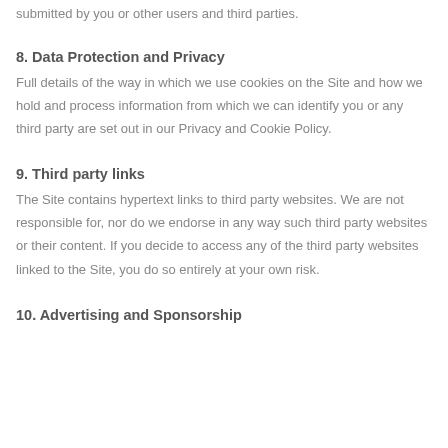submitted by you or other users and third parties.
8. Data Protection and Privacy
Full details of the way in which we use cookies on the Site and how we hold and process information from which we can identify you or any third party are set out in our Privacy and Cookie Policy.
9. Third party links
The Site contains hypertext links to third party websites. We are not responsible for, nor do we endorse in any way such third party websites or their content. If you decide to access any of the third party websites linked to the Site, you do so entirely at your own risk.
10. Advertising and Sponsorship